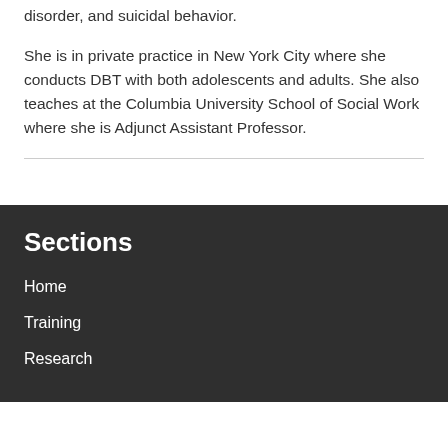disorder, and suicidal behavior.
She is in private practice in New York City where she conducts DBT with both adolescents and adults. She also teaches at the Columbia University School of Social Work where she is Adjunct Assistant Professor.
Sections
Home
Training
Research